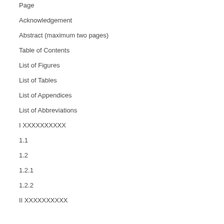Page
Acknowledgement
Abstract (maximum two pages)
Table of Contents
List of Figures
List of Tables
List of Appendices
List of Abbreviations
I XXXXXXXXXX
1.1
1.2
1.2.1
1.2.2
II XXXXXXXXXX